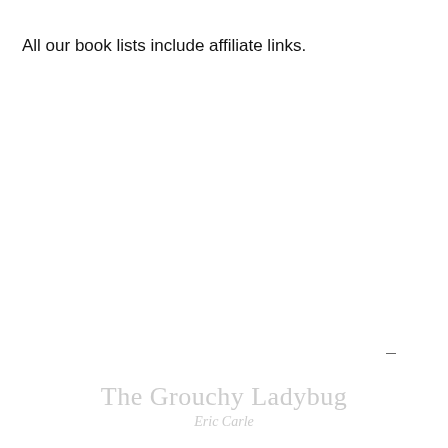All our book lists include affiliate links.
The Grouchy Ladybug
Eric Carle